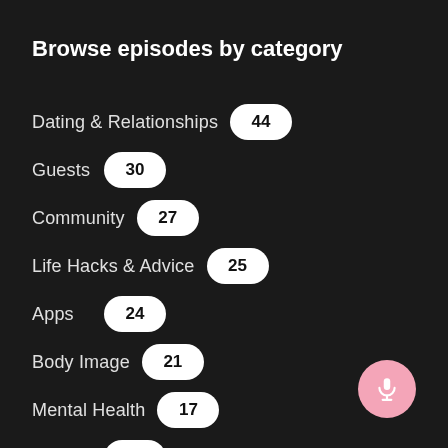Browse episodes by category
Dating & Relationships  44
Guests  30
Community  27
Life Hacks & Advice  25
Apps  24
Body Image  21
Mental Health  17
Family  14
Masculinity  14
[Figure (illustration): Pink circular microphone button in bottom-right corner]